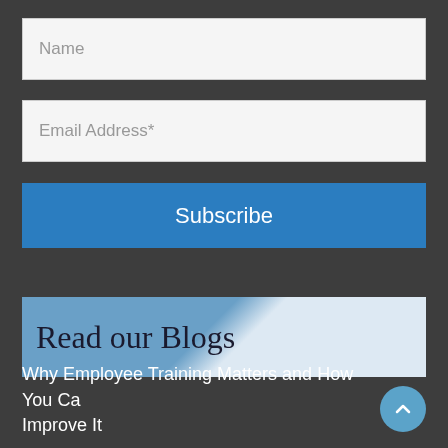Name
Email Address*
Subscribe
Read our Blogs
Why Employee Training Matters and How You Ca Improve It